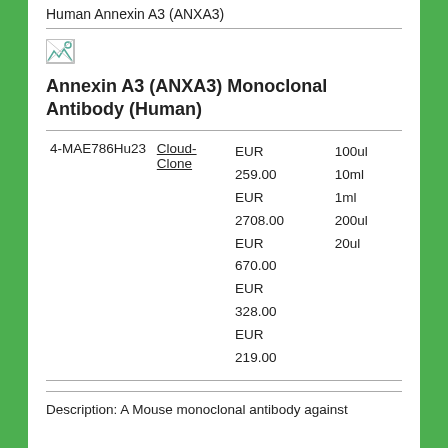Human Annexin A3 (ANXA3)
[Figure (illustration): Small broken image icon placeholder]
Annexin A3 (ANXA3) Monoclonal Antibody (Human)
|  | Supplier | Price | Size |
| --- | --- | --- | --- |
| 4-MAE786Hu23 | Cloud-Clone | EUR 259.00
EUR 2708.00
EUR 670.00
EUR 328.00
EUR 219.00 | 100ul
10ml
1ml
200ul
20ul |
Description: A Mouse monoclonal antibody against